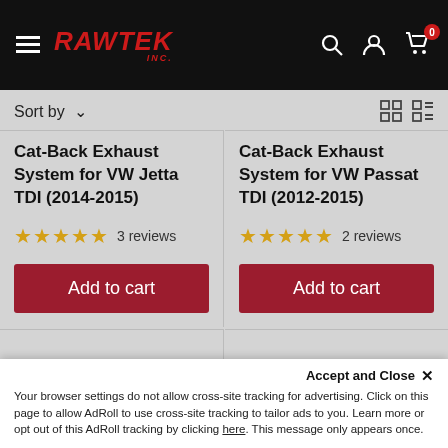RAWTEK INC. — Navigation header with hamburger menu, logo, search, account, and cart icons
Sort by ▾
Cat-Back Exhaust System for VW Jetta TDI (2014-2015)
★★★★★ 3 reviews
Add to cart
Cat-Back Exhaust System for VW Passat TDI (2012-2015)
★★★★★ 2 reviews
Add to cart
Accept and Close ✕
Your browser settings do not allow cross-site tracking for advertising. Click on this page to allow AdRoll to use cross-site tracking to tailor ads to you. Learn more or opt out of this AdRoll tracking by clicking here. This message only appears once.